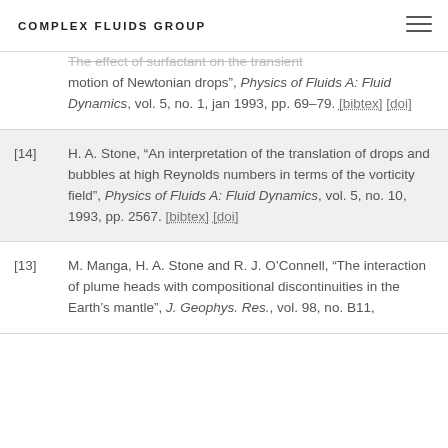COMPLEX FLUIDS GROUP
...The effect of surfactant on the transient motion of Newtonian drops", Physics of Fluids A: Fluid Dynamics, vol. 5, no. 1, jan 1993, pp. 69–79. [bibtex] [doi]
[14] H. A. Stone, "An interpretation of the translation of drops and bubbles at high Reynolds numbers in terms of the vorticity field", Physics of Fluids A: Fluid Dynamics, vol. 5, no. 10, 1993, pp. 2567. [bibtex] [doi]
[13] M. Manga, H. A. Stone and R. J. O'Connell, "The interaction of plume heads with compositional discontinuities in the Earth's mantle", J. Geophys. Res., vol. 98, no. B11, 1993, pp. 19979. [bibtex] [doi]